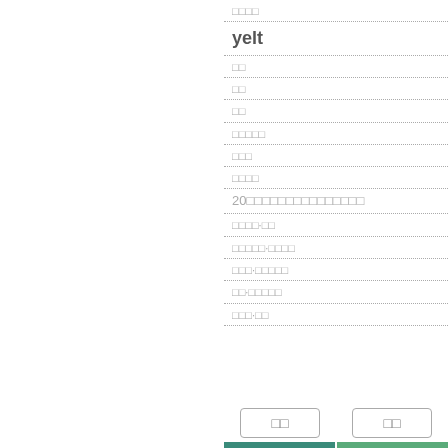□□□□
yelt
□□
□□
□□
□□□□□
□□□
□□□□
20□□□□□□□□□□□□□□□
□□□□·□□
□□□□□·□□□□
□□□·□□□□□
□□·□□□□□
□□□·□□
□□
□□